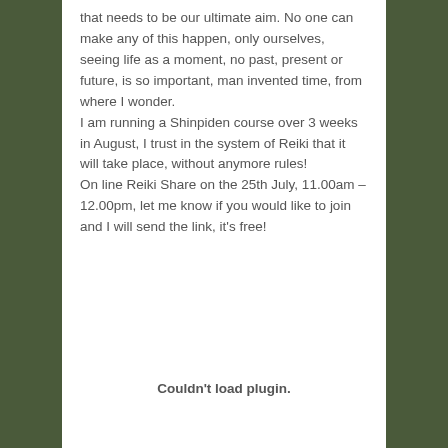that needs to be our ultimate aim. No one can make any of this happen, only ourselves, seeing life as a moment, no past, present or future, is so important, man invented time, from where I wonder.
I am running a Shinpiden course over 3 weeks in August, I trust in the system of Reiki that it will take place, without anymore rules!
On line Reiki Share on the 25th July, 11.00am – 12.00pm, let me know if you would like to join and I will send the link, it's free!
Couldn't load plugin.